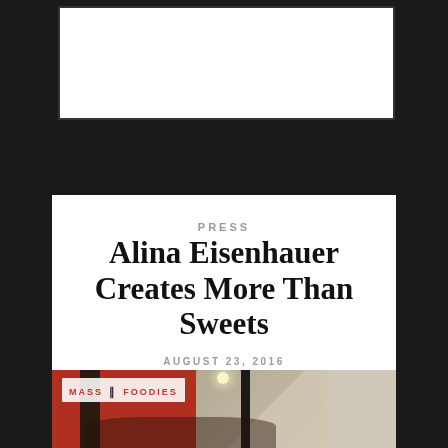PRESS
Alina Eisenhauer Creates More Than Sweets
AUGUST 23, 2016
[Figure (photo): Interior of a restaurant/bakery with red walls, dark columns, chandeliers, and patrons seated at tables. Mass Foodies logo overlaid in top-left corner.]